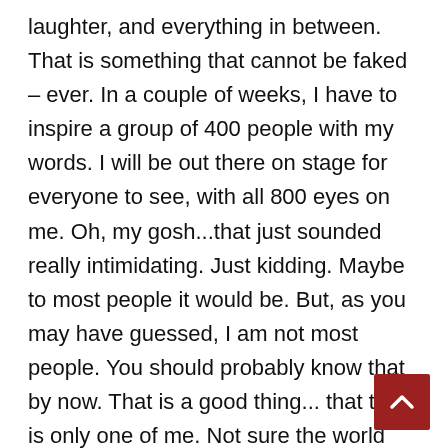laughter, and everything in between. That is something that cannot be faked – ever. In a couple of weeks, I have to inspire a group of 400 people with my words. I will be out there on stage for everyone to see, with all 800 eyes on me. Oh, my gosh...that just sounded really intimidating. Just kidding. Maybe to most people it would be. But, as you may have guessed, I am not most people. You should probably know that by now. That is a good thing... that there is only one of me. Not sure the world could handle more than one, since it may not be ready for this one. Inspiration comes from your heart and is felt deep and urges me on when I want to quit. When I want to run. There are still some things that people say about me that I do not believe. I probably will never believe